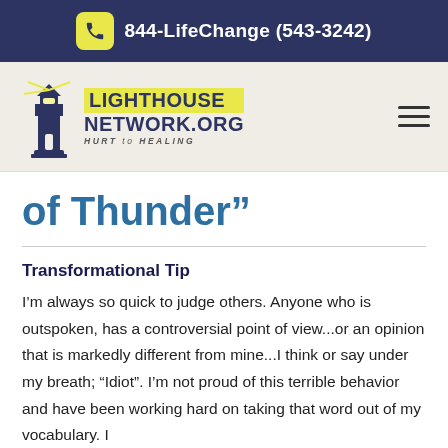844-LifeChange (543-3242)
[Figure (logo): Lighthouse Network.org logo with lighthouse icon and tagline HURT to HEALING]
of Thunder”
Transformational Tip
I’m always so quick to judge others. Anyone who is outspoken, has a controversial point of view...or an opinion that is markedly different from mine...I think or say under my breath; “Idiot”. I’m not proud of this terrible behavior and have been working hard on taking that word out of my vocabulary. I